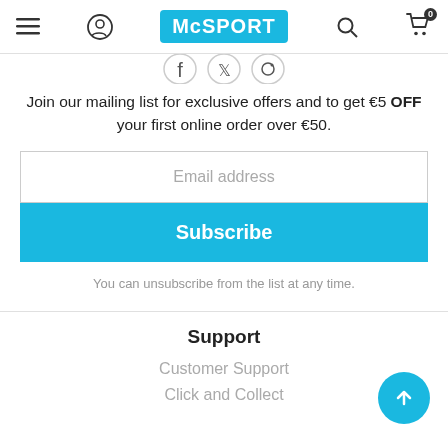McSPORT navigation bar with hamburger menu, user icon, McSPORT logo, search icon, and cart icon (0 items)
[Figure (illustration): Partial social media icons visible at top (cropped)]
Join our mailing list for exclusive offers and to get €5 OFF your first online order over €50.
Email address
Subscribe
You can unsubscribe from the list at any time.
Support
Customer Support
Click and Collect